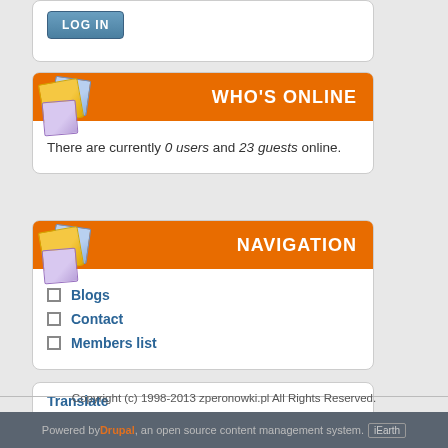[Figure (screenshot): LOG IN button, teal/blue styled button with white uppercase text]
WHO'S ONLINE
There are currently 0 users and 23 guests online.
NAVIGATION
Blogs
Contact
Members list
Translate
Copyright (c) 1998-2013 zperonowki.pl All Rights Reserved.
Powered by Drupal, an open source content management system. iEarth